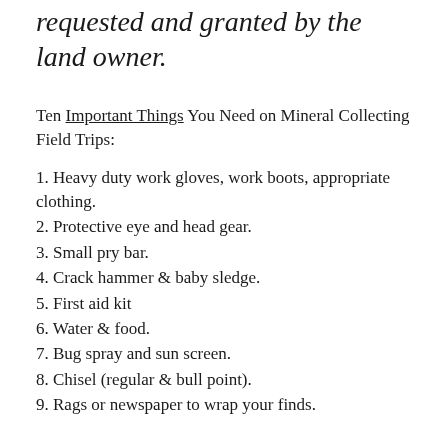requested and granted by the land owner.
Ten Important Things You Need on Mineral Collecting Field Trips:
1. Heavy duty work gloves, work boots, appropriate clothing.
2. Protective eye and head gear.
3. Small pry bar.
4. Crack hammer & baby sledge.
5. First aid kit
6. Water & food.
7. Bug spray and sun screen.
8. Chisel (regular & bull point).
9. Rags or newspaper to wrap your finds.